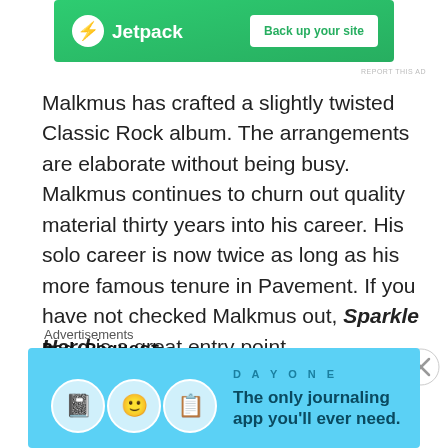[Figure (screenshot): Jetpack advertisement banner with green background, lightning bolt icon, 'Jetpack' text, and 'Back up your site' button]
REPORT THIS AD
Malkmus has crafted a slightly twisted Classic Rock album. The arrangements are elaborate without being busy. Malkmus continues to churn out quality material thirty years into his career. His solo career is now twice as long as his more famous tenure in Pavement. If you have not checked Malkmus out, Sparkle Hard is a great entry point.
Bad Request
[Figure (screenshot): Close/X button circle icon]
Advertisements
[Figure (screenshot): Day One journaling app advertisement with light blue background, icons, and tagline 'The only journaling app you'll ever need.']